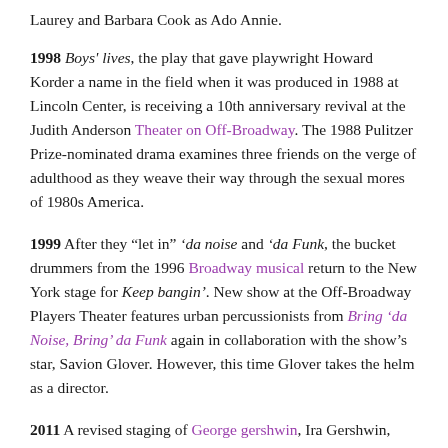Laurey and Barbara Cook as Ado Annie.
1998 Boys' lives, the play that gave playwright Howard Korder a name in the field when it was produced in 1988 at Lincoln Center, is receiving a 10th anniversary revival at the Judith Anderson Theater on Off-Broadway. The 1988 Pulitzer Prize-nominated drama examines three friends on the verge of adulthood as they weave their way through the sexual mores of 1980s America.
1999 After they “let in” ‘da noise and ‘da Funk, the bucket drummers from the 1996 Broadway musical return to the New York stage for Keep bangin’. New show at the Off-Broadway Players Theater features urban percussionists from Bring ‘da Noise, Bring’ da Funk again in collaboration with the show’s star, Savion Glover. However, this time Glover takes the helm as a director.
2011 A revised staging of George gershwin, Ira Gershwin, Dorothy Heyward and DuBose HeywardAmerican folk opera Porgy and Bess, featuring Audra McDonald and Norm Lewis, opens at the